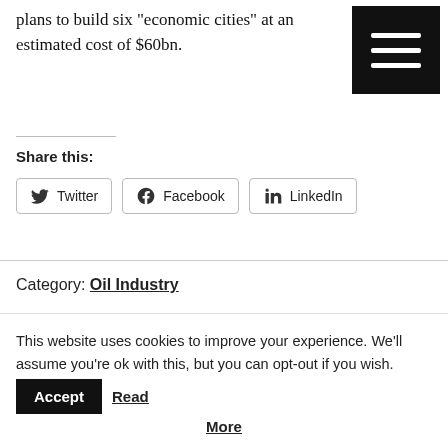plans to build six “economic cities” at an estimated cost of $60bn.
Share this:
[Figure (other): Social share buttons: Twitter, Facebook, LinkedIn]
Category: Oil Industry
← Energy companies plan artificial island in the North Sea
The world’s top oil-producing countries: Russia
This website uses cookies to improve your experience. We'll assume you're ok with this, but you can opt-out if you wish. Accept Read More